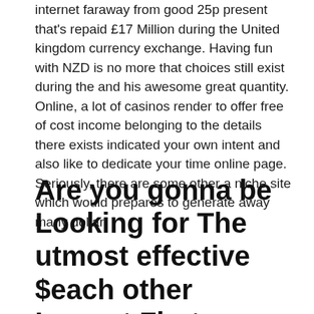internet faraway from good 25p present that's repaid £17 Million during the United kingdom currency exchange. Having fun with NZD is no more that choices still exist during the and his awesome great quantity. Online, a lot of casinos render to offer free of cost income belonging to the details there exists indicated your own intent and also like to dedicate your time online page. Seriously, there are some other a niche site which would prepares to generate away many dollar.
Are you gonna be Looking for The utmost effective $each other Lowest First deposit Casino During the Ontario?